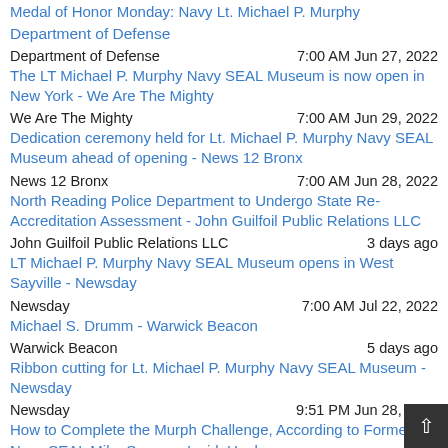Medal of Honor Monday: Navy Lt. Michael P. Murphy
Department of Defense [link]
Department of Defense   7:00 AM Jun 27, 2022
The LT Michael P. Murphy Navy SEAL Museum is now open in New York - We Are The Mighty [link]
We Are The Mighty   7:00 AM Jun 29, 2022
Dedication ceremony held for Lt. Michael P. Murphy Navy SEAL Museum ahead of opening - News 12 Bronx [link]
News 12 Bronx   7:00 AM Jun 28, 2022
North Reading Police Department to Undergo State Re-Accreditation Assessment - John Guilfoil Public Relations LLC [link]
John Guilfoil Public Relations LLC   3 days ago
LT Michael P. Murphy Navy SEAL Museum opens in West Sayville - Newsday [link]
Newsday   7:00 AM Jul 22, 2022
Michael S. Drumm - Warwick Beacon [link]
Warwick Beacon   5 days ago
Ribbon cutting for Lt. Michael P. Murphy Navy SEAL Museum - Newsday [link]
Newsday   9:51 PM Jun 28, 2022
How to Complete the Murph Challenge, According to Former Navy SEAL Mike Sauers - InsideHook [link]